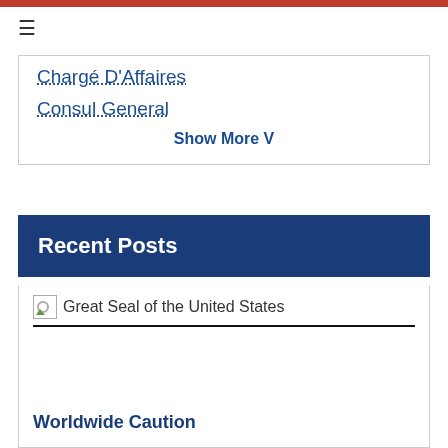Chargé D'Affaires
Consul General
Show More V
Recent Posts
[Figure (other): Broken image placeholder for Great Seal of the United States]
Worldwide Caution